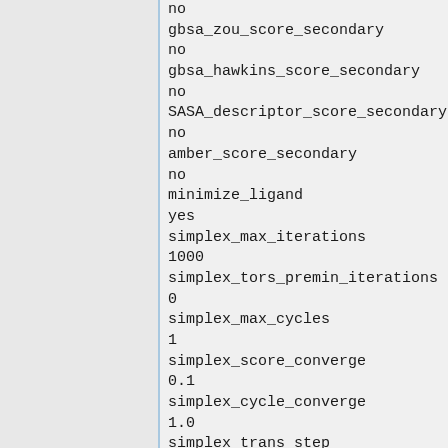no
gbsa_zou_score_secondary
no
gbsa_hawkins_score_secondary
no
SASA_descriptor_score_secondary
no
amber_score_secondary
no
minimize_ligand
yes
simplex_max_iterations
1000
simplex_tors_premin_iterations
0
simplex_max_cycles
1
simplex_score_converge
0.1
simplex_cycle_converge
1.0
simplex_trans_step
1.0
simplex_rot_step
0.1